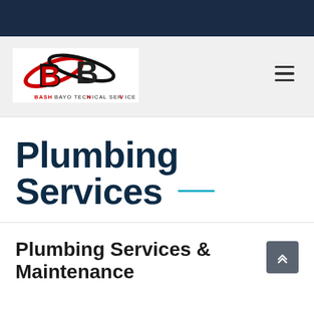[Figure (logo): BB Bashbayo Technical Service Ltd. logo with two interlocked B letters in red and black with orbital swoosh design]
Plumbing Services
Plumbing Services & Maintenance